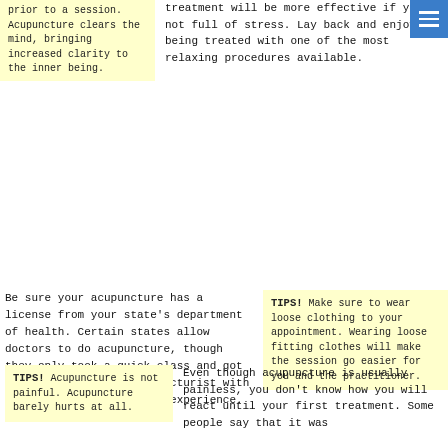prior to a session. Acupuncture clears the mind, bringing increased clarity to the inner being.
treatment will be more effective if you're not full of stress. Lay back and enjoy being treated with one of the most relaxing procedures available.
Be sure your acupuncture has a license from your state's department of health. Certain states allow doctors to do acupuncture, though they only took a quick class and got a license. Find an acupuncturist with the proper education and experience.
TIPS! Make sure to wear loose clothing to your appointment. Wearing loose fitting clothes will make the session go easier for you and the practitioner.
TIPS! Acupuncture is not painful. Acupuncture barely hurts at all.
Even though acupuncture is usually painless, you don't know how you will react until your first treatment. Some people say that it was